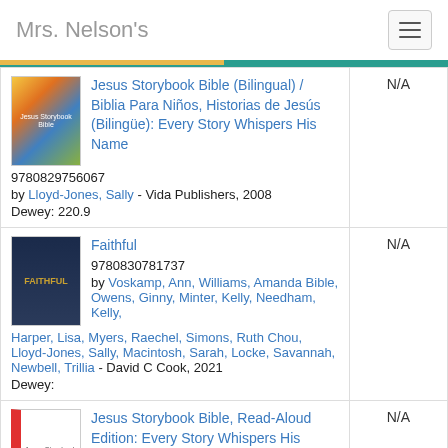Mrs. Nelson's
| Book Info | Availability |
| --- | --- |
| Jesus Storybook Bible (Bilingual) / Biblia Para Niños, Historias de Jesús (Bilingüe): Every Story Whispers His Name
9780829756067
by Lloyd-Jones, Sally - Vida Publishers, 2008
Dewey: 220.9 | N/A |
| Faithful
9780830781737
by Voskamp, Ann, Williams, Amanda Bible, Owens, Ginny, Minter, Kelly, Needham, Kelly, Harper, Lisa, Myers, Raechel, Simons, Ruth Chou, Lloyd-Jones, Sally, Macintosh, Sarah, Locke, Savannah, Newbell, Trillia - David C Cook, 2021
Dewey: | N/A |
| Jesus Storybook Bible, Read-Aloud Edition: Every Story Whispers His Name
9780310726050
by Lloyd-Jones, Sally - Zonderkidz, 2011 | N/A |